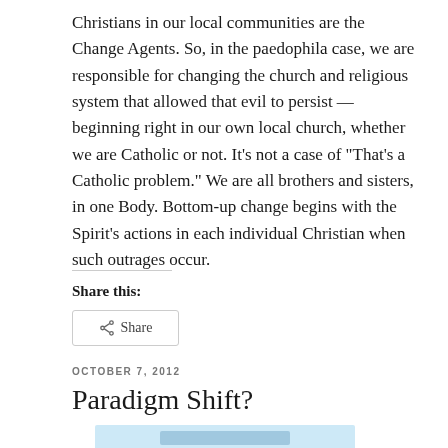Christians in our local communities are the Change Agents. So, in the paedophila case, we are responsible for changing the church and religious system that allowed that evil to persist — beginning right in our own local church, whether we are Catholic or not. It's not a case of "That's a Catholic problem." We are all brothers and sisters, in one Body. Bottom-up change begins with the Spirit's actions in each individual Christian when such outrages occur.
Share this:
[Figure (other): Share button with share icon]
OCTOBER 7, 2012
Paradigm Shift?
[Figure (other): Partial image preview at bottom of page, light blue background]